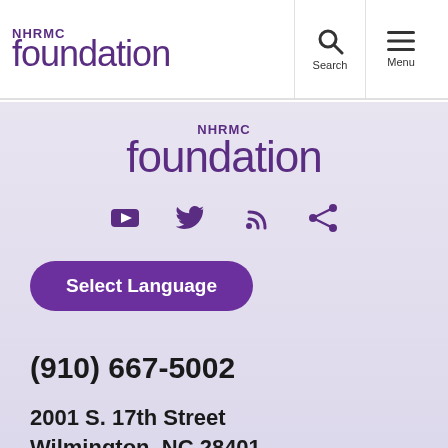NHRMC foundation
[Figure (logo): NHRMC Foundation logo centered on purple gradient background]
[Figure (infographic): Social media icons: YouTube, Twitter, RSS, Share — in purple]
Select Language
(910) 667-5002
2001 S. 17th Street
Wilmington, NC 28401
NHRMC Foundation Contacts